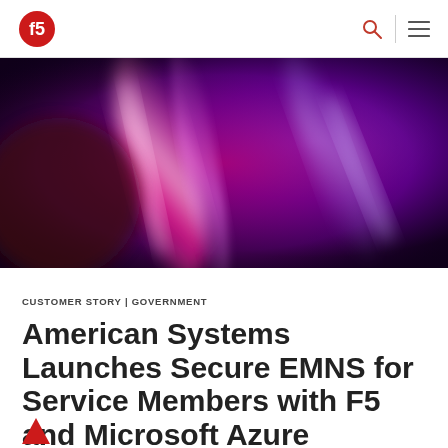F5 logo, search icon, menu icon
[Figure (photo): Abstract blurred light streaks in magenta, pink, red, and purple/blue tones on a dark background]
CUSTOMER STORY | GOVERNMENT
American Systems Launches Secure EMNS for Service Members with F5 and Microsoft Azure